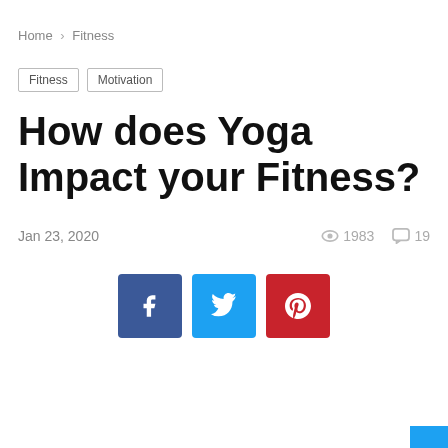Home › Fitness
Fitness   Motivation
How does Yoga Impact your Fitness?
Jan 23, 2020   👁 1983   💬 19